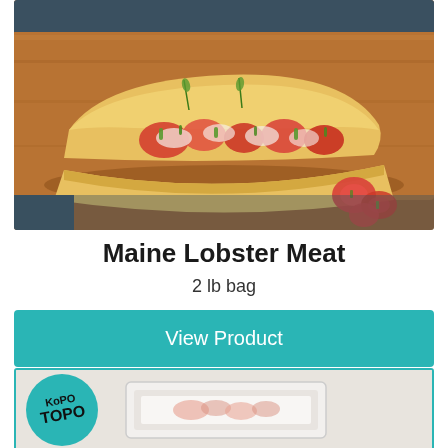[Figure (photo): Close-up photo of a Maine lobster roll on a toasted bun, filled with chunks of lobster meat, diced green onions, and creamy sauce, served on a wooden cutting board with extra lobster pieces on the side.]
Maine Lobster Meat
2 lb bag
View Product
[Figure (photo): Partial view of a second product card showing a teal circular logo badge with 'TOPO' text and a white plastic tray container, bordered with a teal outline frame.]